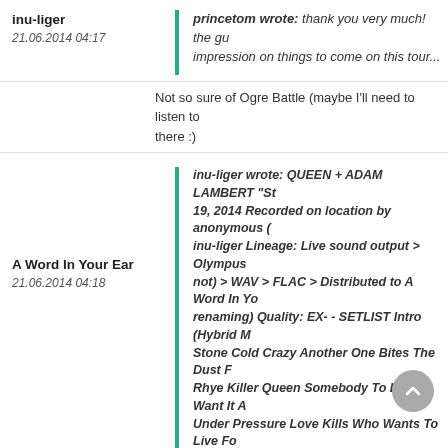inu-liger
21.06.2014 04:17
princetom wrote: thank you very much! the gui impression on things to come on this tour...
Not so sure of Ogre Battle (maybe I'll need to listen to there :)
A Word In Your Ear
21.06.2014 04:18
inu-liger wrote: QUEEN + ADAM LAMBERT "St 19, 2014 Recorded on location by anonymous ( inu-liger Lineage: Live sound output > Olympus not) > WAV > FLAC > Distributed to A Word In Yo renaming) Quality: EX- - SETLIST Intro (Hybrid M Stone Cold Crazy Another One Bites The Dust F Rhye Killer Queen Somebody To Love I Want It A Under Pressure Love Kills Who Wants To Live Fo Crazy Little Thing Called Love The Show Must G Champions God Save The Queen Enjoy! Do NC your own personal (ab)use!
:-)